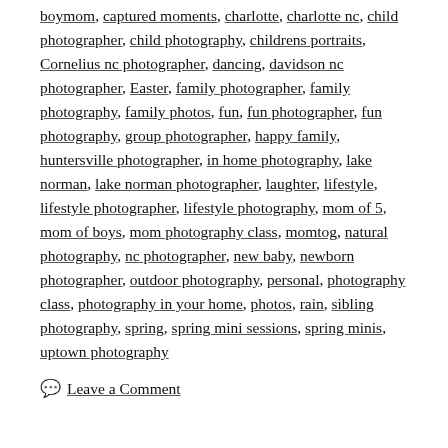boymom, captured moments, charlotte, charlotte nc, child photographer, child photography, childrens portraits, Cornelius nc photographer, dancing, davidson nc photographer, Easter, family photographer, family photography, family photos, fun, fun photographer, fun photography, group photographer, happy family, huntersville photographer, in home photography, lake norman, lake norman photographer, laughter, lifestyle, lifestyle photographer, lifestyle photography, mom of 5, mom of boys, mom photography class, momtog, natural photography, nc photographer, new baby, newborn photographer, outdoor photography, personal, photography class, photography in your home, photos, rain, sibling photography, spring, spring mini sessions, spring minis, uptown photography
Leave a Comment